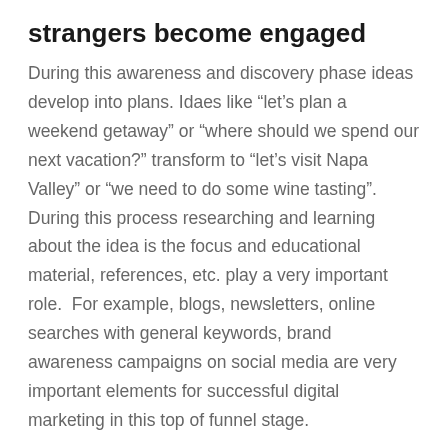strangers become engaged
During this awareness and discovery phase ideas develop into plans. Idaes like “let’s plan a weekend getaway” or “where should we spend our next vacation?” transform to “let’s visit Napa Valley” or “we need to do some wine tasting”. During this process researching and learning about the idea is the focus and educational material, references, etc. play a very important role.  For example, blogs, newsletters, online searches with general keywords, brand awareness campaigns on social media are very important elements for successful digital marketing in this top of funnel stage.
engaged visitors become qualified leads